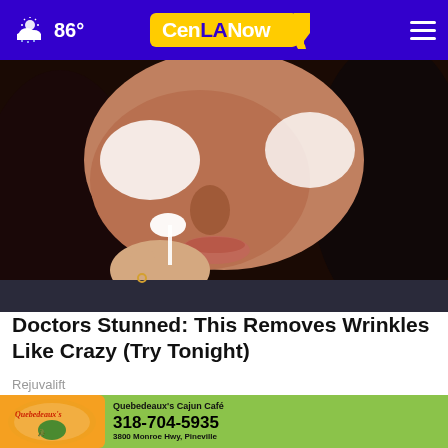86° CenLANow
[Figure (photo): Close-up photo of a woman applying a white face mask/cream to her cheek with a brush or applicator, dark hair, close-cropped to show face and hand]
Doctors Stunned: This Removes Wrinkles Like Crazy (Try Tonight)
Rejuvalift
[Figure (photo): Partial photo of two people outdoors near a vehicle, partially obscured by advertisement overlay]
[Figure (advertisement): Quebedeaux's Cajun Café advertisement banner with logo, phone number 318-704-5935, address 3800 Monroe Hwy, Pineville, on green background]